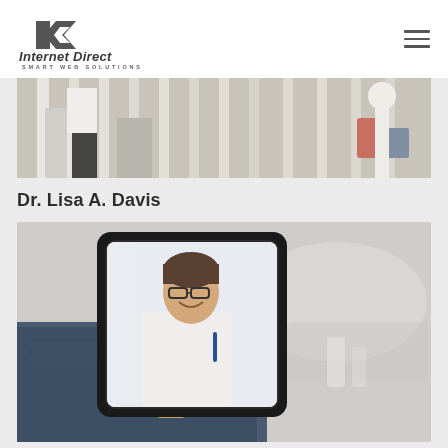[Figure (logo): Internet Direct Smart Web Solutions logo with stylized 'D' arrow icon and italic bold text]
[Figure (photo): Cropped photo showing people (lower body/legs) on a porch with white railing and painted concrete post]
Dr. Lisa A. Davis
[Figure (photo): Person holding a tablet showing a video call with a doctor in a white coat smiling; blurred background with bottles on a table]